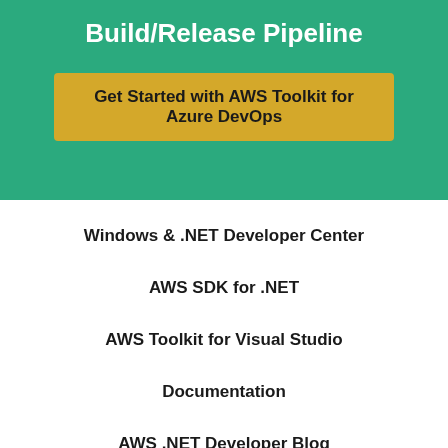Build/Release Pipeline
Get Started with AWS Toolkit for Azure DevOps
Windows & .NET Developer Center
AWS SDK for .NET
AWS Toolkit for Visual Studio
Documentation
AWS .NET Developer Blog
GitHub Repository